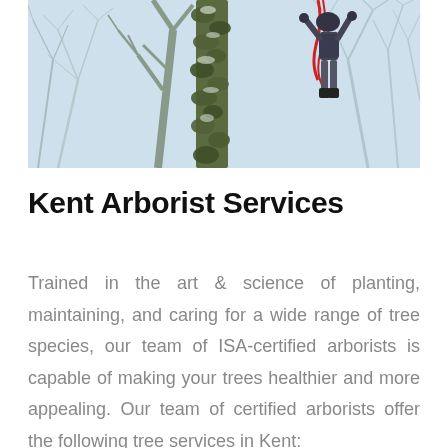[Figure (photo): An arborist climbing trees with ivy-covered trunk and bare winter branches against a light blue sky]
Kent Arborist Services
Trained in the art & science of planting, maintaining, and caring for a wide range of tree species, our team of ISA-certified arborists is capable of making your trees healthier and more appealing. Our team of certified arborists offer the following tree services in Kent: